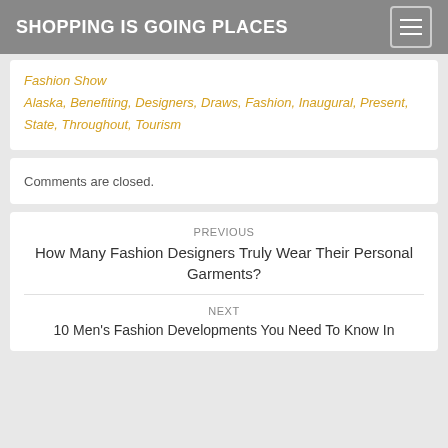SHOPPING IS GOING PLACES
Fashion Show
Alaska, Benefiting, Designers, Draws, Fashion, Inaugural, Present, State, Throughout, Tourism
Comments are closed.
PREVIOUS
How Many Fashion Designers Truly Wear Their Personal Garments?
NEXT
10 Men's Fashion Developments You Need To Know In